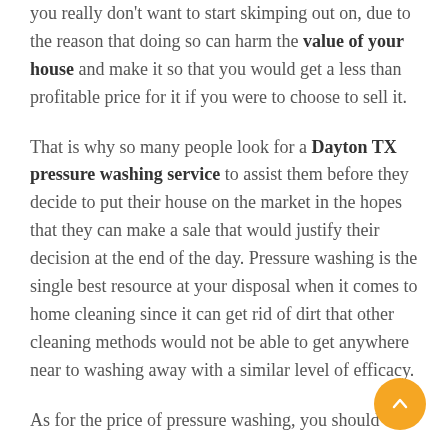you really don't want to start skimping out on, due to the reason that doing so can harm the value of your house and make it so that you would get a less than profitable price for it if you were to choose to sell it.
That is why so many people look for a Dayton TX pressure washing service to assist them before they decide to put their house on the market in the hopes that they can make a sale that would justify their decision at the end of the day. Pressure washing is the single best resource at your disposal when it comes to home cleaning since it can get rid of dirt that other cleaning methods would not be able to get anywhere near to washing away with a similar level of efficacy.
As for the price of pressure washing, you should